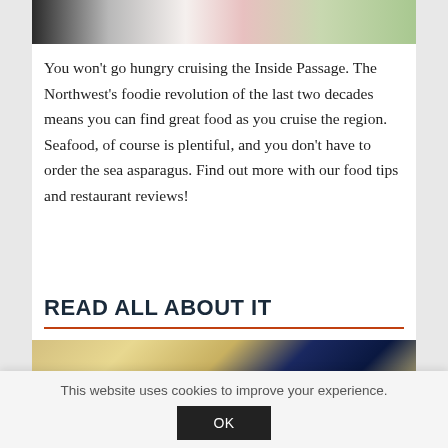[Figure (photo): Top portion of a food photo showing a white plate with scattered red berries/pomegranate seeds and green herbs/salad]
You won't go hungry cruising the Inside Passage. The Northwest's foodie revolution of the last two decades means you can find great food as you cruise the region. Seafood, of course is plentiful, and you don't have to order the sea asparagus. Find out more with our food tips and restaurant reviews!
READ ALL ABOUT IT
[Figure (photo): Close-up photo of a dark navy clock face with gold/brass ring, showing letters 'FOR' at top and 'Y' and 'U' at bottom, suggesting 'READY FOR YOU' or similar text around the clock face]
This website uses cookies to improve your experience.